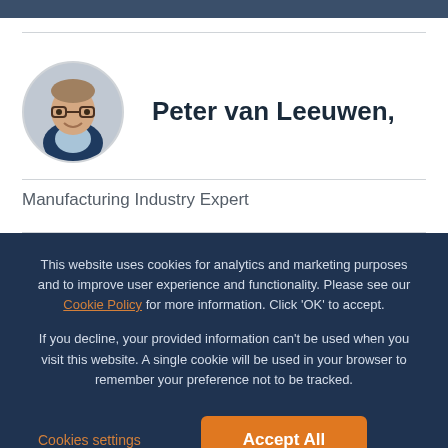[Figure (photo): Circular avatar photo of a middle-aged man wearing glasses and a dark blazer with a light blue shirt, smiling]
Peter van Leeuwen,
Manufacturing Industry Expert
This website uses cookies for analytics and marketing purposes and to improve user experience and functionality. Please see our Cookie Policy for more information. Click ‘OK’ to accept.
If you decline, your provided information can’t be used when you visit this website. A single cookie will be used in your browser to remember your preference not to be tracked.
Cookies settings
Accept All